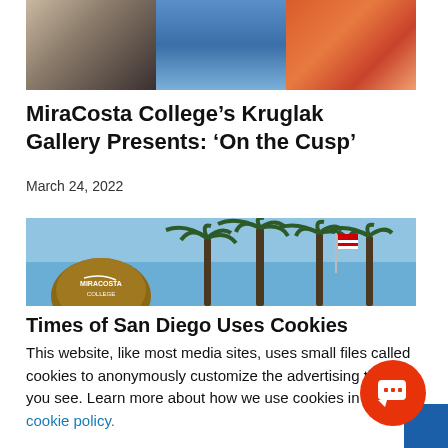[Figure (photo): Three-panel art collage: left panel shows legs on stairs in grayscale tones, center panel shows blue flowing fabric/dress, right panel shows orange-red painterly figure artwork]
MiraCosta College’s Kruglak Gallery Presents: ‘On the Cusp’
March 24, 2022
[Figure (photo): MiraCosta College campus photo showing the MiraCosta College sign/sphere with palm trees and blue sky in the background, with an American flag visible]
Times of San Diego Uses Cookies
This website, like most media sites, uses small files called cookies to anonymously customize the advertising that you see. Learn more about how we use cookies in our cookie policy.